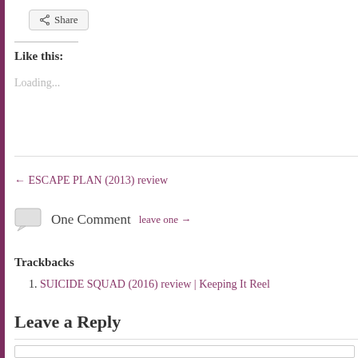[Figure (other): Share button with share icon]
Like this:
Loading...
← ESCAPE PLAN (2013) review
One Comment  leave one →
Trackbacks
1. SUICIDE SQUAD (2016) review | Keeping It Reel
Leave a Reply